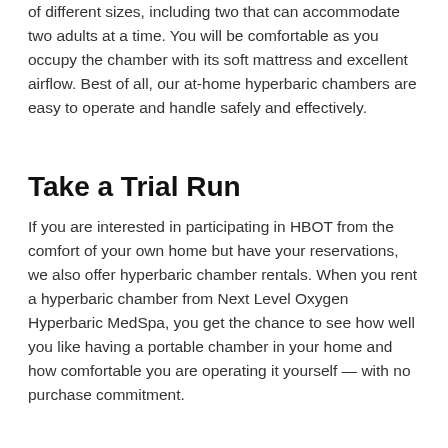of different sizes, including two that can accommodate two adults at a time. You will be comfortable as you occupy the chamber with its soft mattress and excellent airflow. Best of all, our at-home hyperbaric chambers are easy to operate and handle safely and effectively.
Take a Trial Run
If you are interested in participating in HBOT from the comfort of your own home but have your reservations, we also offer hyperbaric chamber rentals. When you rent a hyperbaric chamber from Next Level Oxygen Hyperbaric MedSpa, you get the chance to see how well you like having a portable chamber in your home and how comfortable you are operating it yourself — with no purchase commitment.